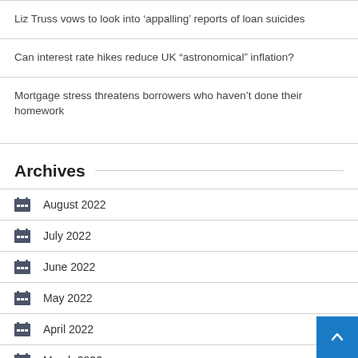Liz Truss vows to look into ‘appalling’ reports of loan suicides
Can interest rate hikes reduce UK “astronomical” inflation?
Mortgage stress threatens borrowers who haven’t done their homework
Archives
August 2022
July 2022
June 2022
May 2022
April 2022
March 2022